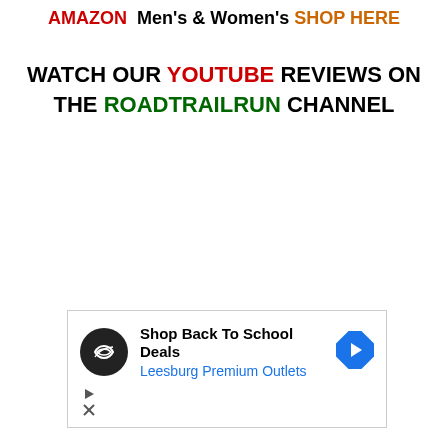AMAZON  Men's & Women's  SHOP HERE
WATCH OUR YOUTUBE REVIEWS ON THE ROADTRAILRUN CHANNEL
[Figure (other): Advertisement box: Shop Back To School Deals - Leesburg Premium Outlets, with circular logo icon and navigation arrow icon, plus ad control icons (play and close)]